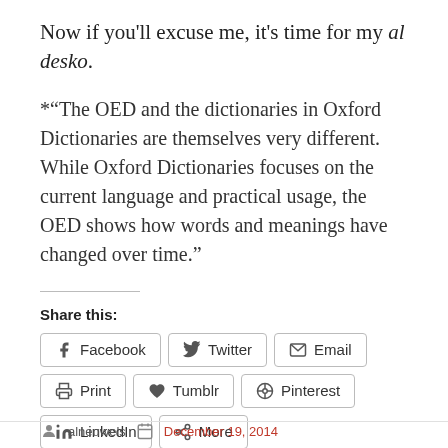Now if you'll excuse me, it's time for my al desko.
*"The OED and the dictionaries in Oxford Dictionaries are themselves very different. While Oxford Dictionaries focuses on the current language and practical usage, the OED shows how words and meanings have changed over time."
Share this:
Facebook | Twitter | Email | Print | Tumblr | Pinterest | LinkedIn | More
Loading...
8   alneuwels   December 19, 2014